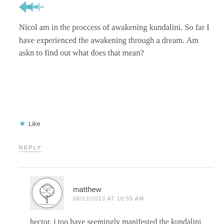[Figure (logo): Small teal/turquoise arrow or decorative icon in top left]
Nicol am in the proccess of awakening kundalini. So far I have experienced the awakening through a dream. Am askn to find out what does that mean?
★ Like
REPLY
matthew
08/12/2013 AT 10:55 AM
[Figure (illustration): Circular ornate avatar illustration showing a tree or nature scene in black and white sketch style]
hector, i too have seemingly manifested the kundalini awakening through a dream,